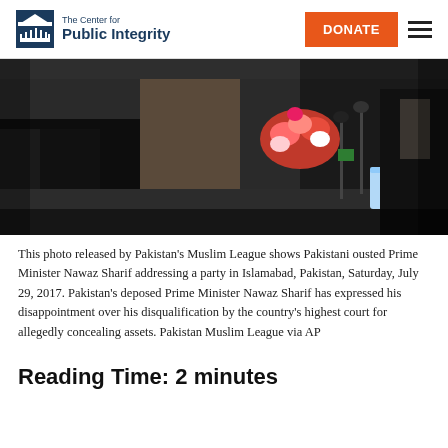The Center for Public Integrity — DONATE
[Figure (photo): Press conference scene showing Pakistani ousted Prime Minister Nawaz Sharif addressing a party in Islamabad, with microphones and flowers visible on the table.]
This photo released by Pakistan's Muslim League shows Pakistani ousted Prime Minister Nawaz Sharif addressing a party in Islamabad, Pakistan, Saturday, July 29, 2017. Pakistan's deposed Prime Minister Nawaz Sharif has expressed his disappointment over his disqualification by the country's highest court for allegedly concealing assets. Pakistan Muslim League via AP
Reading Time: 2 minutes